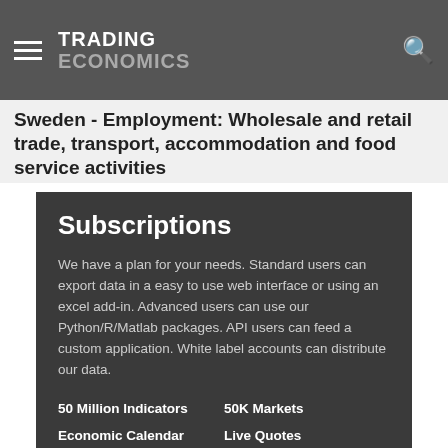TRADING ECONOMICS
Sweden - Employment: Wholesale and retail trade, transport, accommodation and food service activities
Subscriptions
We have a plan for your needs. Standard users can export data in a easy to use web interface or using an excel add-in. Advanced users can use our Python/R/Matlab packages. API users can feed a custom application. White label accounts can distribute our data.
50 Million Indicators
50K Markets
Economic Calendar
Live Quotes
News Stream
Currencies
Earnings Releases
Stocks
Credit Ratings
Commodities
Forecasts
Bonds
Get Started